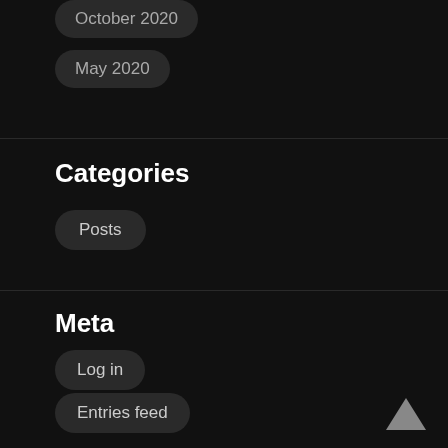October 2020
May 2020
Categories
Posts
Meta
Log in
Entries feed
Comments feed
WordPress.org